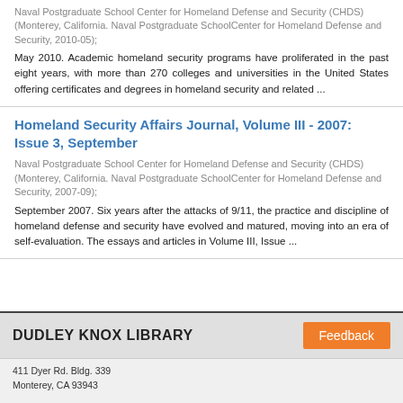Naval Postgraduate School Center for Homeland Defense and Security (CHDS) (Monterey, California. Naval Postgraduate SchoolCenter for Homeland Defense and Security, 2010-05); May 2010. Academic homeland security programs have proliferated in the past eight years, with more than 270 colleges and universities in the United States offering certificates and degrees in homeland security and related ...
Homeland Security Affairs Journal, Volume III - 2007: Issue 3, September
Naval Postgraduate School Center for Homeland Defense and Security (CHDS) (Monterey, California. Naval Postgraduate SchoolCenter for Homeland Defense and Security, 2007-09); September 2007. Six years after the attacks of 9/11, the practice and discipline of homeland defense and security have evolved and matured, moving into an era of self-evaluation. The essays and articles in Volume III, Issue ...
DUDLEY KNOX LIBRARY
411 Dyer Rd. Bldg. 339
Monterey, CA 93943